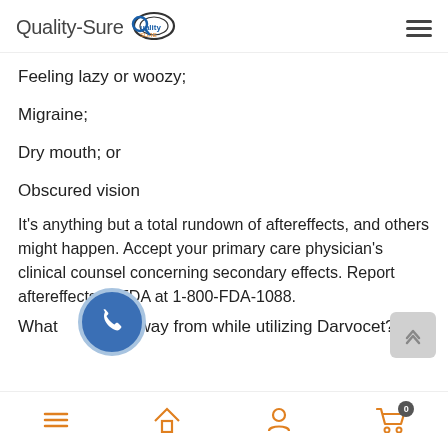Quality-Sure
Feeling lazy or woozy;
Migraine;
Dry mouth; or
Obscured vision
It's anything but a total rundown of aftereffects, and others might happen. Accept your primary care physician's clinical counsel concerning secondary effects. Report aftereffects to FDA at 1-800-FDA-1088.
What to stay away from while utilizing Darvocet?